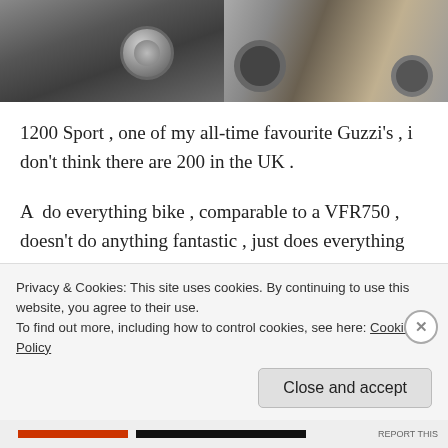[Figure (photo): Two motorcycle photos side by side: left shows a close-up of a Moto Guzzi fuel tank with cap, right shows a Moto Guzzi 1200 Sport motorcycle parked indoors on a tiled floor.]
1200 Sport , one of my all-time favourite Guzzi's , i don't think there are 200 in the UK .
A  do everything bike , comparable to a VFR750 , doesn't do anything fantastic , just does everything well.
Fast enough to get from A 2 B at a very good average
Privacy & Cookies: This site uses cookies. By continuing to use this website, you agree to their use.
To find out more, including how to control cookies, see here: Cookie Policy
Close and accept